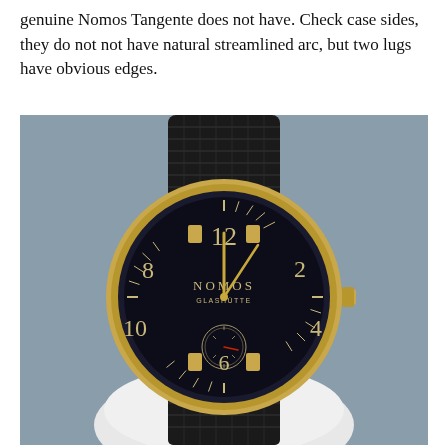genuine Nomos Tangente does not have. Check case sides, they do not not have natural streamlined arc, but two lugs have obvious edges.
[Figure (photo): A Nomos Glashütte Tangente watch with a black dial, gold-tone case, gold hands, red seconds hand, and a black woven/braided strap, held in a white-gloved hand against a grey background.]